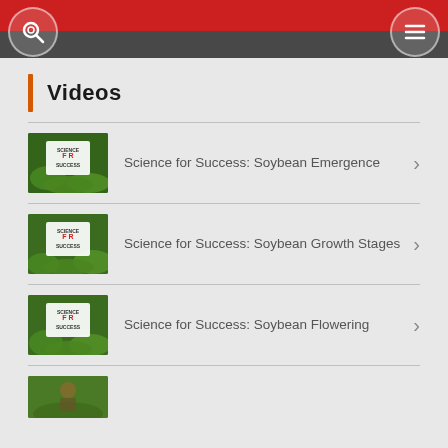Navigation header with search and menu icons
Videos
Science for Success: Soybean Emergence
Science for Success: Soybean Growth Stages
Science for Success: Soybean Flowering
(partial fourth item)